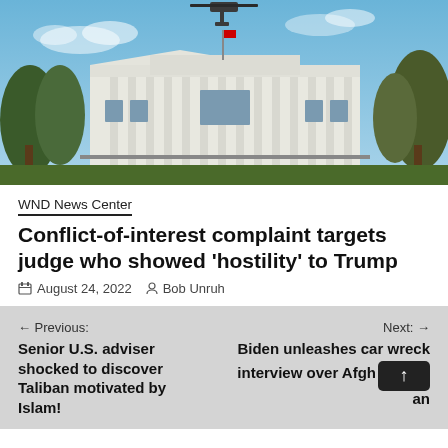[Figure (photo): Photo of the White House with a helicopter visible at top, blue sky background, trees on sides]
WND News Center
Conflict-of-interest complaint targets judge who showed 'hostility' to Trump
August 24, 2022  Bob Unruh
← Previous: Senior U.S. adviser shocked to discover Taliban motivated by Islam!
Next: → Biden unleashes car wreck interview over Afghanistan